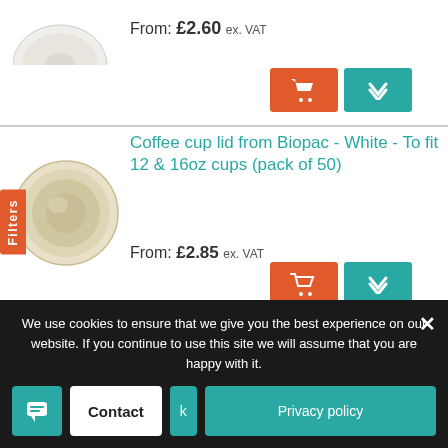[Figure (photo): White round lid, partially visible at top of page]
From: £2.60 ex. VAT
[Figure (photo): Beige/cream coloured round coffee cup lid from Biopac]
Coffee cup lid from Biopac - White - To fit 12 & 16oz cups (pack of 50)
From: £2.85 ex. VAT
[Figure (photo): Small white 6oz coffee cup from Vegware with green band at base, 79-Series]
6oz coffee cup from vegware, white (17cl), 79-Series (pack of 50)
From: £2.40 ex. VAT
We use cookies to ensure that we give you the best experience on our website. If you continue to use this site we will assume that you are happy with it.